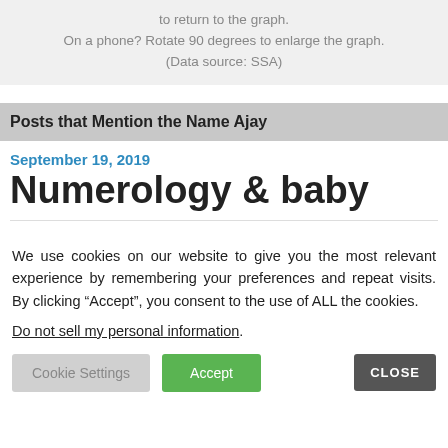to return to the graph.
On a phone? Rotate 90 degrees to enlarge the graph.
(Data source: SSA)
Posts that Mention the Name Ajay
September 19, 2019
Numerology & baby
We use cookies on our website to give you the most relevant experience by remembering your preferences and repeat visits. By clicking “Accept”, you consent to the use of ALL the cookies.
Do not sell my personal information.